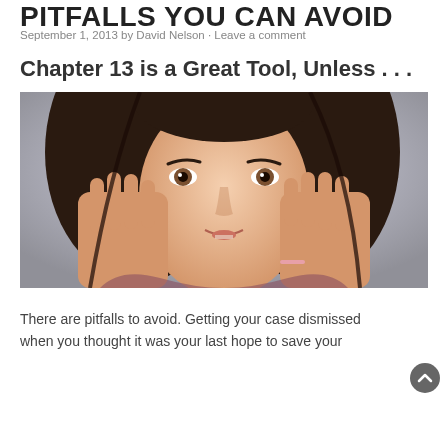PITFALLS YOU CAN AVOID
September 1, 2013 by David Nelson · Leave a comment
Chapter 13 is a Great Tool, Unless . . .
[Figure (photo): A young woman with long dark hair holding both hands up to the sides of her face with a worried or shocked expression, looking directly at the camera against a light gray background.]
There are pitfalls to avoid. Getting your case dismissed when you thought it was your last hope to save your